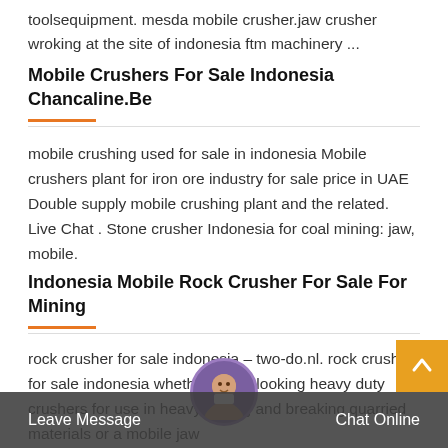toolsequipment. mesda mobile crusher.jaw crusher wroking at the site of indonesia ftm machinery ...
Mobile Crushers For Sale Indonesia Chancaline.Be
mobile crushing used for sale in indonesia Mobile crushers plant for iron ore industry for sale price in UAE Double supply mobile crushing plant and the related. Live Chat . Stone crusher Indonesia for coal mining: jaw, mobile.
Indonesia Mobile Rock Crusher For Sale For Mining
rock crusher for sale indonesia – two-do.nl. rock crusher for sale indonesia whether youre looking heavy duty crushers for use in heavy mining and breaking quarried materials or a mobile jaw